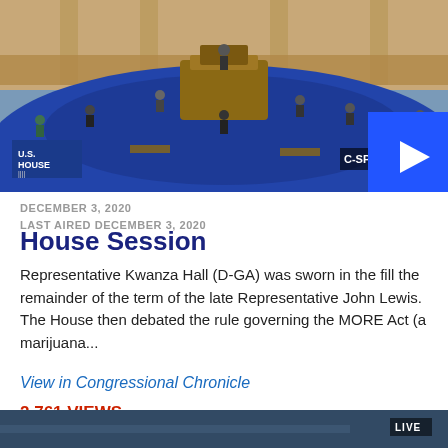[Figure (screenshot): C-SPAN video thumbnail showing the U.S. House of Representatives chamber during a session, with a blue play button overlay in the bottom right. U.S. House logo visible in bottom left, C-SPAN logo partially visible.]
DECEMBER 3, 2020
LAST AIRED DECEMBER 3, 2020
House Session
Representative Kwanza Hall (D-GA) was sworn in the fill the remainder of the term of the late Representative John Lewis. The House then debated the rule governing the MORE Act (a marijuana...
View in Congressional Chronicle
2,761 VIEWS
[Figure (screenshot): Bottom partial thumbnail of another video showing a legislative chamber with LIVE badge in bottom right corner.]